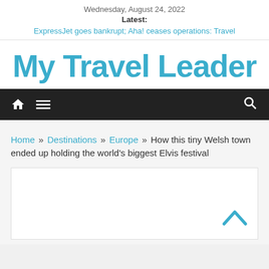Wednesday, August 24, 2022
Latest: ExpressJet goes bankrupt; Aha! ceases operations: Travel
My Travel Leader
[Figure (infographic): Navigation bar with home icon, hamburger menu icon, and search icon on dark background]
Home » Destinations » Europe » How this tiny Welsh town ended up holding the world's biggest Elvis festival
[Figure (photo): White image box placeholder with a chevron up arrow in the bottom right corner]